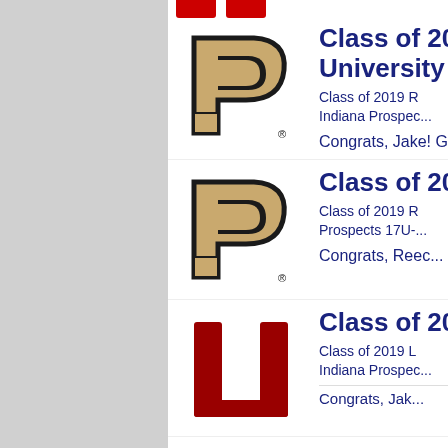[Figure (logo): Partial red logo at top of page (cropped)]
[Figure (logo): Purdue University boilermaker P logo in gold and black]
Class of 20... University...
Class of 2019 R... Indiana Prospec...
Congrats, Jake! Go Boilermakers!
[Figure (logo): Purdue University boilermaker P logo in gold and black]
Class of 20...
Class of 2019 R... Prospects 17U-...
Congrats, Reec...
[Figure (logo): Indiana University IU logo in crimson red]
Class of 20...
Class of 2019 L... Indiana Prospec...
Congrats, Jak...